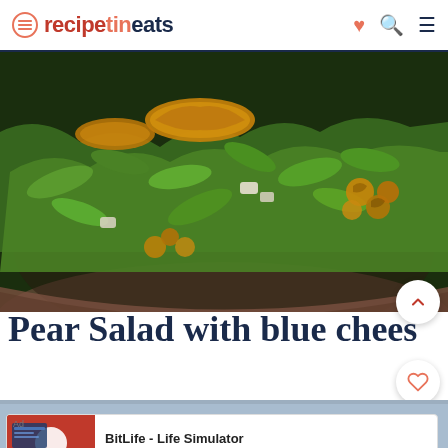recipetineats
[Figure (photo): Close-up photo of a pear salad with blue cheese, rocket/arugula leaves, walnuts, and caramelised pear slices in a bowl]
Pear Salad with blue cheese
12.3k
[Figure (photo): Partial second food photo, light blue-grey background]
Ad BitLife - Life Simulator Install!